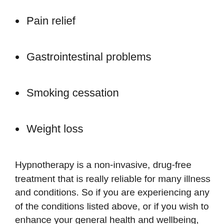Pain relief
Gastrointestinal problems
Smoking cessation
Weight loss
Hypnotherapy is a non-invasive, drug-free treatment that is really reliable for many illness and conditions. So if you are experiencing any of the conditions listed above, or if you wish to enhance your general health and wellbeing, hypnotherapy could be the best treatment for you. Contact